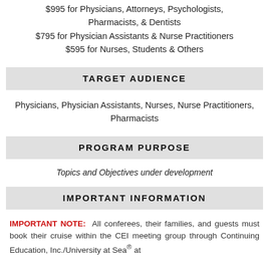$995 for Physicians, Attorneys, Psychologists, Pharmacists, & Dentists
$795 for Physician Assistants & Nurse Practitioners
$595 for Nurses, Students & Others
TARGET AUDIENCE
Physicians, Physician Assistants, Nurses, Nurse Practitioners, Pharmacists
PROGRAM PURPOSE
Topics and Objectives under development
IMPORTANT INFORMATION
IMPORTANT NOTE: All conferees, their families, and guests must book their cruise within the CEI meeting group through Continuing Education, Inc./University at Sea® at